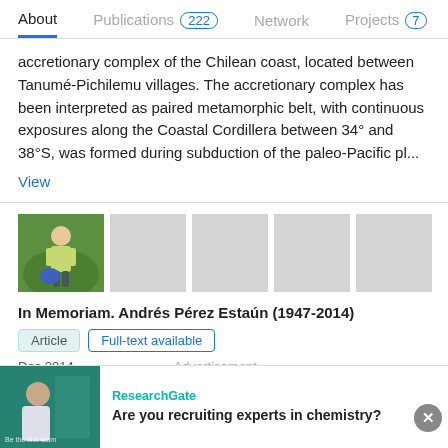About   Publications 222   Network   Projects 7
accretionary complex of the Chilean coast, located between Tanumé-Pichilemu villages. The accretionary complex has been interpreted as paired metamorphic belt, with continuous exposures along the Coastal Cordillera between 34° and 38°S, was formed during subduction of the paleo-Pacific pl...
View
[Figure (photo): Photo of a person in the field with trees in background, followed by four gray placeholder image boxes]
In Memoriam. Andrés Pérez Estaún (1947-2014)
Article   Full-text available
Dec 2014   Advertisement
ResearchGate
Are you recruiting experts in chemistry?